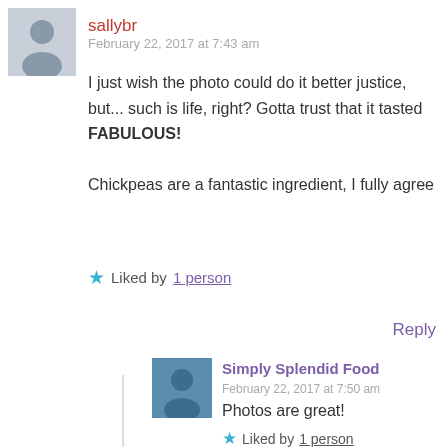sallybr
February 22, 2017 at 7:43 am
I just wish the photo could do it better justice, but... such is life, right? Gotta trust that it tasted FABULOUS! Chickpeas are a fantastic ingredient, I fully agree
Liked by 1 person
Reply
Simply Splendid Food
February 22, 2017 at 7:50 am
Photos are great!
Liked by 1 person